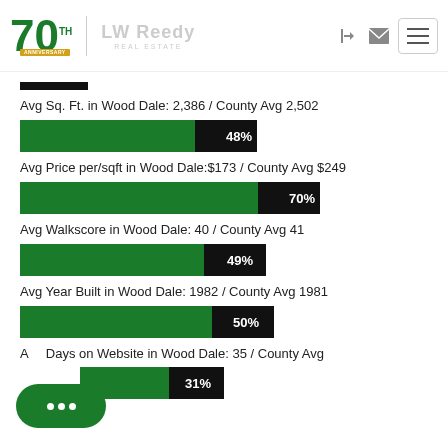LW Reedy Real Estate - 70th Anniversary
[Figure (bar-chart): Avg Sq. Ft. in Wood Dale]
Avg Sq. Ft. in Wood Dale: 2,386 / County Avg 2,502
[Figure (bar-chart): Avg Price per/sqft in Wood Dale]
Avg Price per/sqft in Wood Dale:$173 / County Avg $249
[Figure (bar-chart): Avg Walkscore in Wood Dale]
Avg Walkscore in Wood Dale: 40 / County Avg 41
[Figure (bar-chart): Avg Year Built in Wood Dale]
Avg Year Built in Wood Dale: 1982 / County Avg 1981
Avg Days on Website in Wood Dale: 35 / County Avg
[Figure (bar-chart): Avg Days on Website]